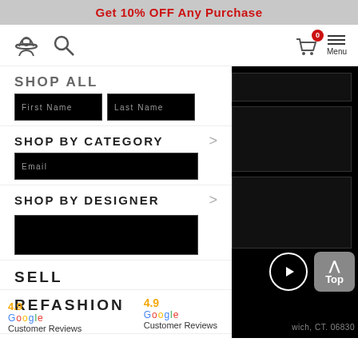Get 10% OFF Any Purchase
[Figure (screenshot): Website navigation bar with user icon, search icon, cart icon with badge '0', and hamburger menu labeled 'Menu']
SHOP ALL
First Name   Last Name
SHOP BY CATEGORY
Email
SHOP BY DESIGNER
SELL
REFASHION
4.9
Google
Customer Reviews
MORE
4.9
Google
Customer Reviews
wich, CT. 06830